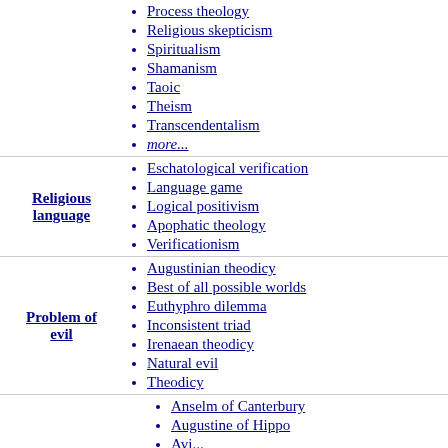Process theology
Religious skepticism
Spiritualism
Shamanism
Taoic
Theism
Transcendentalism
more...
Religious language
Eschatological verification
Language game
Logical positivism
Apophatic theology
Verificationism
Problem of evil
Augustinian theodicy
Best of all possible worlds
Euthyphro dilemma
Inconsistent triad
Irenaean theodicy
Natural evil
Theodicy
Anselm of Canterbury
Augustine of Hippo
Avi...